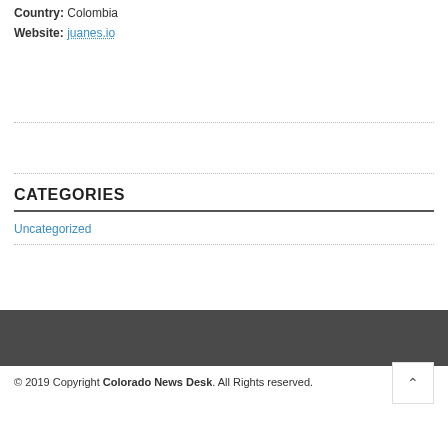Country: Colombia
Website: juanes.io
CATEGORIES
Uncategorized
© 2019 Copyright Colorado News Desk. All Rights reserved.